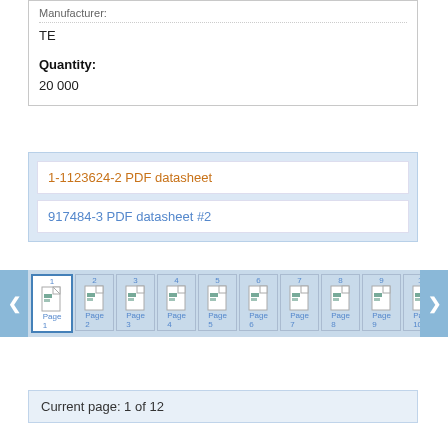Manufacturer:
TE
Quantity:
20 000
1-1123624-2 PDF datasheet
917484-3 PDF datasheet #2
[Figure (other): Page thumbnail navigation strip showing pages 1 through 10 with page icons and navigation arrows. Page 1 is highlighted/active.]
Current page: 1 of 12